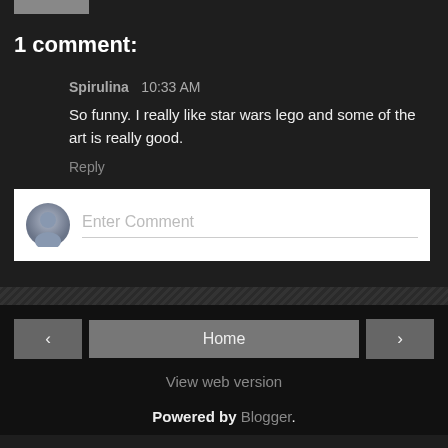1 comment:
Spirulina  10:33 AM
So funny. I really like star wars lego and some of the art is really good.
Reply
[Figure (other): Enter Comment input box with user avatar icon]
Home  View web version  Powered by Blogger.